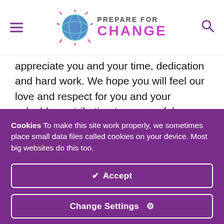Prepare For Change
appreciate you and your time, dedication and hard work. We hope you will feel our love and respect for you and your valuable contribution to a peaceful transition at the time of the Event.
The Resistance has asked us to inform the international
Cookies To make this site work properly, we sometimes place small data files called cookies on your device. Most big websites do this too.
✔ Accept
Change Settings ⚙